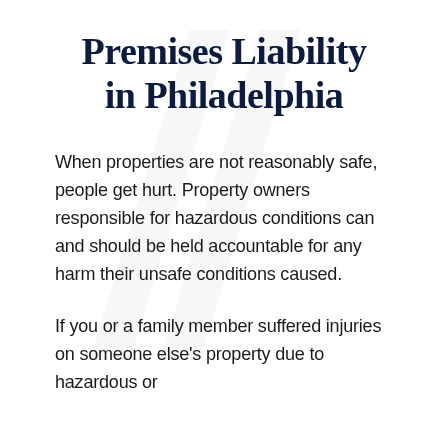Premises Liability in Philadelphia
When properties are not reasonably safe, people get hurt. Property owners responsible for hazardous conditions can and should be held accountable for any harm their unsafe conditions caused.
If you or a family member suffered injuries on someone else's property due to hazardous or